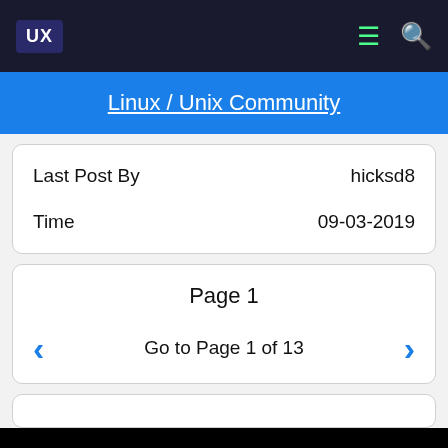UX | Linux / Unix Community
Linux / Unix Community
| Field | Value |
| --- | --- |
| Last Post By | hicksd8 |
| Time | 09-03-2019 |
Page 1
< Go to Page 1 of 13 >